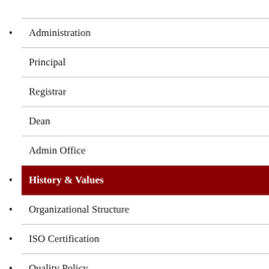Administration
Principal
Registrar
Dean
Admin Office
History & Values
Organizational Structure
ISO Certification
Quality Policy